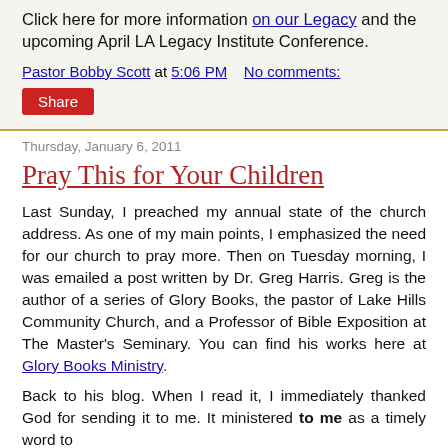Click here for more information on our Legacy and the upcoming April LA Legacy Institute Conference.
Pastor Bobby Scott at 5:06 PM    No comments:
Share
Thursday, January 6, 2011
Pray This for Your Children
Last Sunday, I preached my annual state of the church address. As one of my main points, I emphasized the need for our church to pray more. Then on Tuesday morning, I was emailed a post written by Dr. Greg Harris. Greg is the author of a series of Glory Books, the pastor of Lake Hills Community Church, and a Professor of Bible Exposition at The Master's Seminary. You can find his works here at Glory Books Ministry.
Back to his blog. When I read it, I immediately thanked God for sending it to me. It ministered to me as a timely word to